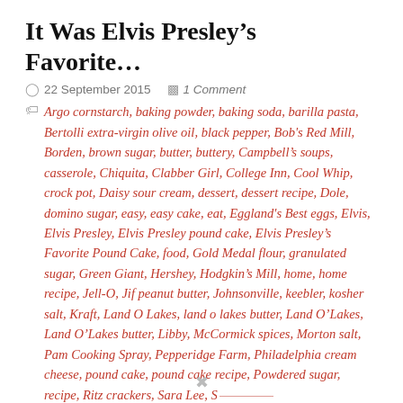It Was Elvis Presley's Favorite...
22 September 2015   1 Comment
Argo cornstarch, baking powder, baking soda, barilla pasta, Bertolli extra-virgin olive oil, black pepper, Bob's Red Mill, Borden, brown sugar, butter, buttery, Campbell's soups, casserole, Chiquita, Clabber Girl, College Inn, Cool Whip, crock pot, Daisy sour cream, dessert, dessert recipe, Dole, domino sugar, easy, easy cake, eat, Eggland's Best eggs, Elvis, Elvis Presley, Elvis Presley pound cake, Elvis Presley's Favorite Pound Cake, food, Gold Medal flour, granulated sugar, Green Giant, Hershey, Hodgkin's Mill, home, home recipe, Jell-O, Jif peanut butter, Johnsonville, keebler, kosher salt, Kraft, Land O Lakes, land o lakes butter, Land O'Lakes, Land O'Lakes butter, Libby, McCormick spices, Morton salt, Pam Cooking Spray, Pepperidge Farm, Philadelphia cream cheese, pound cake, pound cake recipe, Powdered sugar, recipe, Ritz crackers, Sara Lee, Smart Balance, shortening, slow cooker, Thermador...